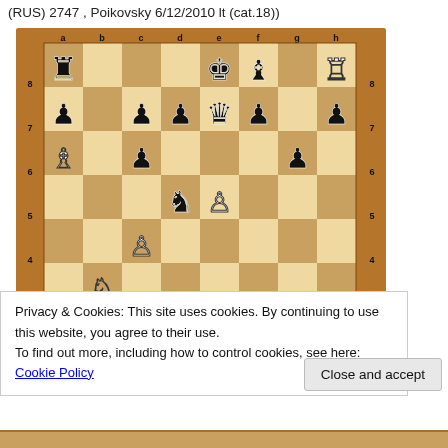(RUS) 2747 , Poikovsky 6/12/2010 lt (cat.18))
[Figure (illustration): Chess board position diagram showing a mid-game chess position with various white and black pieces. File labels a-h across top, rank numbers 8-4 visible on sides. Black pieces include rooks, pawns, bishop, king, queen, knight. White pieces include bishop, pawns, knight.]
Privacy & Cookies: This site uses cookies. By continuing to use this website, you agree to their use.
To find out more, including how to control cookies, see here: Cookie Policy
Close and accept